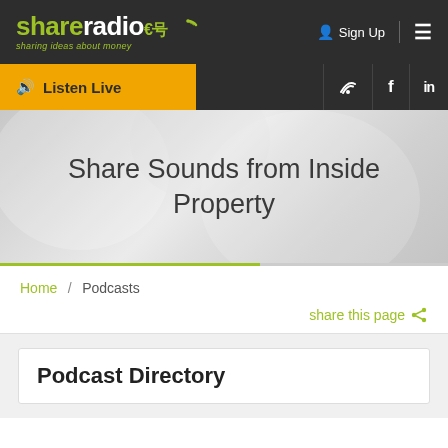shareradio — sharing ideas about money | Sign Up
Listen Live | Twitter | Facebook | LinkedIn
Share Sounds from Inside Property
Home / Podcasts
share this page
Podcast Directory